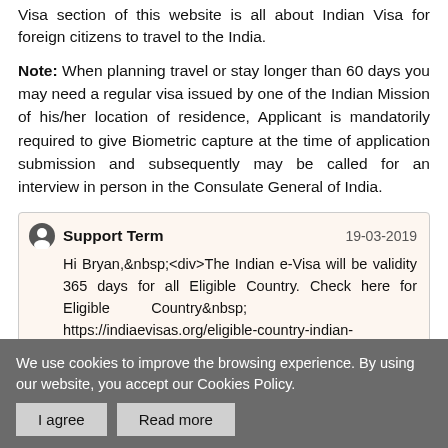Visa section of this website is all about Indian Visa for foreign citizens to travel to the India.
Note: When planning travel or stay longer than 60 days you may need a regular visa issued by one of the Indian Mission of his/her location of residence, Applicant is mandatorily required to give Biometric capture at the time of application submission and subsequently may be called for an interview in person in the Consulate General of India.
Support Term — 19-03-2019
Hi Bryan,&nbsp;<div>The Indian e-Visa will be validity 365 days for all Eligible Country. Check here for Eligible Country&nbsp; https://indiaevisas.org/eligible-country-indian-visa/&nbsp;</div>
Bryan — 18-03-2019
We use cookies to improve the browsing experience. By using our website, you accept our Cookies Policy.  I agree  Read more